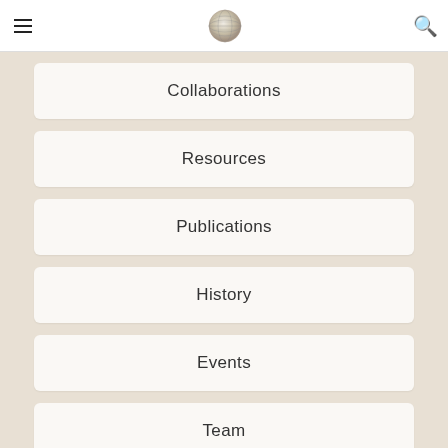Navigation header with hamburger menu, globe logo, and search icon
Collaborations
Resources
Publications
History
Events
Team